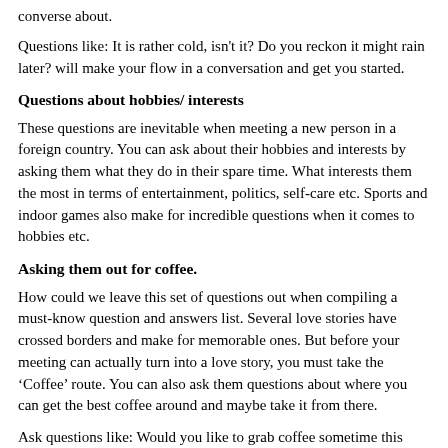converse about.
Questions like: It is rather cold, isn't it? Do you reckon it might rain later? will make your flow in a conversation and get you started.
Questions about hobbies/ interests
These questions are inevitable when meeting a new person in a foreign country. You can ask about their hobbies and interests by asking them what they do in their spare time. What interests them the most in terms of entertainment, politics, self-care etc. Sports and indoor games also make for incredible questions when it comes to hobbies etc.
Asking them out for coffee.
How could we leave this set of questions out when compiling a must-know question and answers list. Several love stories have crossed borders and make for memorable ones. But before your meeting can actually turn into a love story, you must take the ‘Coffee’ route. You can also ask them questions about where you can get the best coffee around and maybe take it from there.
Ask questions like: Would you like to grab coffee sometime this week (if you are not interested romantically)